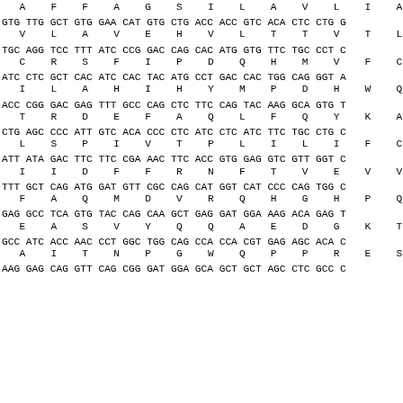A F F A G S I L A V L I A L
GTG TTG GCT GTG GAA CAT GTG CTG ACC ACC GTC ACA CTC CTG ...
V L A V E H V L T T V T L L
TGC AGG TCC TTT ATC CCG GAC CAG CAC ATG GTG TTC TGC CCT ...
C R S F I P D Q H M V F C P
ATC CTC GCT CAC ATC CAC TAC ATG CCT GAC CAC TGG CAG GGT ...
I L A H I H Y M P D H W Q G
ACC CGG GAC GAG TTT GCC CAG CTC TTC CAG TAC AAG GCA GTG ...
T R D E F A Q L F Q Y K A V
CTG AGC CCC ATT GTC ACA CCC CTC ATC CTC ATC TTC TGC CTG ...
L S P I V T P L I L I F C L
ATT ATA GAC TTC TTC CGA AAC TTC ACC GTG GAG GTC GTT GGT ...
I I D F F R N F T V E V V G
TTT GCT CAG ATG GAT GTT CGC CAG CAT GGT CAT CCC CAG TGG ...
F A Q M D V R Q H G H P Q W
GAG GCC TCA GTG TAC CAG CAA GCT GAG GAT GGA AAG ACA GAG ...
E A S V Y Q Q A E D G K T E
GCC ATC ACC AAC CCT GGC TGG CAG CCA CCA CGT GAG AGC ACA ...
A I T N P G W Q P P R E S T
AAG GAG CAG GTT CAG CGG GAT GGA GCA GCT GCT AGC CTC GCC ...